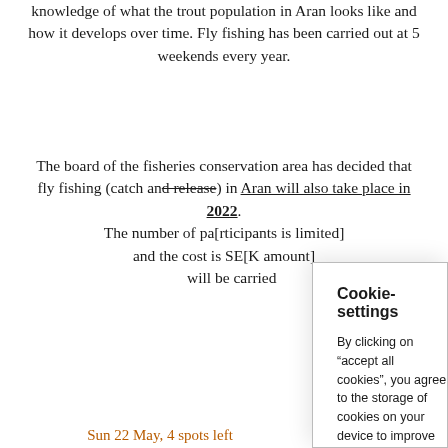knowledge of what the trout population in Aran looks like and how it develops over time. Fly fishing has been carried out at 5 weekends every year.
The board of the fisheries conservation area has decided that fly fishing (catch and release) in Aran will also take place in 2023. The number of participants is limited to [number] at each occasion, and the cost is SEK [amount]. This year's fishing opportunities will be carried [out...]
Cookie-settings
By clicking on "accept all cookies", you agree to the storage of cookies on your device to improve navigation on the website, analyze the use of the website and assist in our marketing efforts.
See our privacy policy here
Settings for cookies
Reject all
Accept all cookies
Sun 22 May, 4 spots left